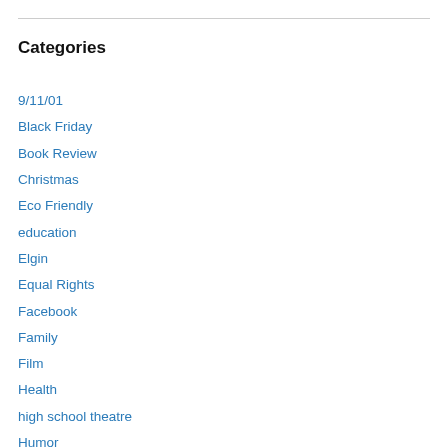Categories
9/11/01
Black Friday
Book Review
Christmas
Eco Friendly
education
Elgin
Equal Rights
Facebook
Family
Film
Health
high school theatre
Humor
Illinois
Lifestyle